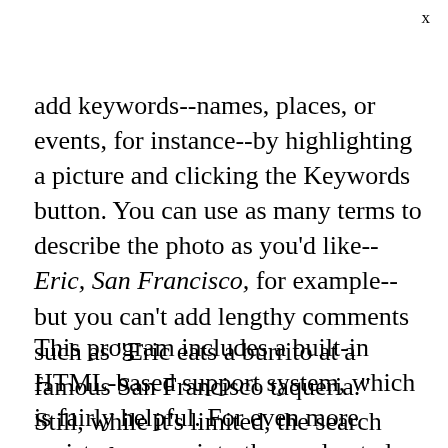x
add keywords--names, places, or events, for instance--by highlighting a picture and clicking the Keywords button. You can use as many terms to describe the photo as you'd like--Eric, San Francisco, for example--but you can't add lengthy comments such as "Eric eats a burrito at a famous San Francisco taqueria." Still, while it's limited, the search tool is fast and accurate.
This program includes a built-in HTML-based support system, which is fairly helpful. For even more assistance, pop into the moderated online forums, accessible from